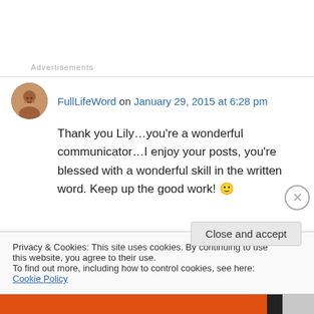Advertisements
FullLifeWord on January 29, 2015 at 6:28 pm
Thank you Lily…you're a wonderful communicator…I enjoy your posts, you're blessed with a wonderful skill in the written word. Keep up the good work! 🙂
Privacy & Cookies: This site uses cookies. By continuing to use this website, you agree to their use.
To find out more, including how to control cookies, see here: Cookie Policy
Close and accept